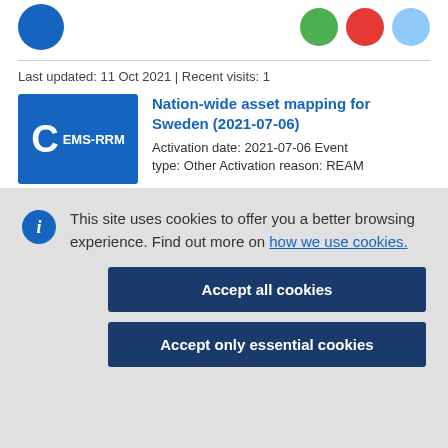[Figure (screenshot): Top navigation icons row with blue circle on left and green, red, light blue circles on right]
Last updated: 11 Oct 2021 | Recent visits: 1
[Figure (other): Blue card icon with large C letter and EMS-RRM label]
Nation-wide asset mapping for Sweden (2021-07-06)
Activation date: 2021-07-06 Event type: Other Activation reason: REAM
This site uses cookies to offer you a better browsing experience. Find out more on how we use cookies.
Accept all cookies
Accept only essential cookies